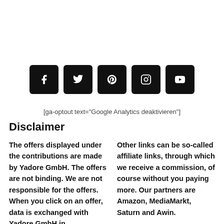[Figure (other): Row of five social media icon buttons (Facebook, Twitter, Pinterest, Instagram, YouTube) with black rounded square backgrounds and white icons]
[ga-optout text="Google Analytics deaktivieren"]
Disclaimer
The offers displayed under the contributions are made by Yadore GmbH. The offers are not binding. We are not responsible for the offers. When you click on an offer, data is exchanged with Yadore GmbH in accordance
Other links can be so-called affiliate links, through which we receive a commission, of course without you paying more. Our partners are Amazon, MediaMarkt, Saturn and Awin.